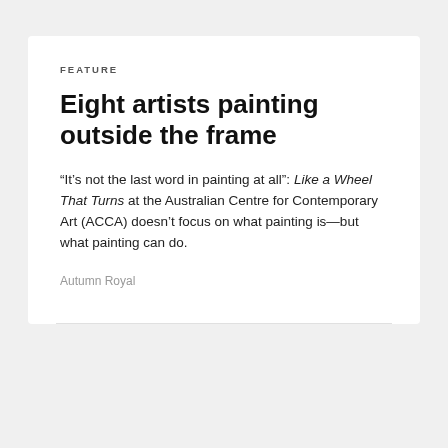FEATURE
Eight artists painting outside the frame
“It’s not the last word in painting at all”: Like a Wheel That Turns at the Australian Centre for Contemporary Art (ACCA) doesn’t focus on what painting is—but what painting can do.
Autumn Royal